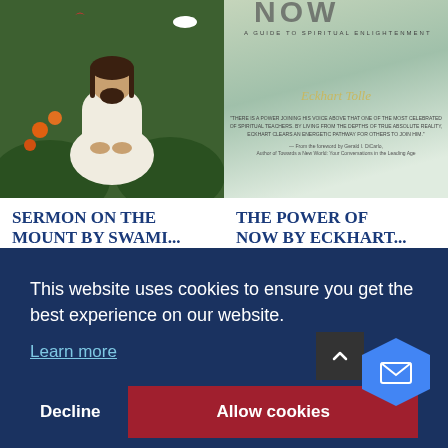[Figure (photo): Book cover of 'Sermon on the Mount' showing a figure in white robes sitting in meditation pose, surrounded by nature]
[Figure (photo): Book cover of 'The Power of Now' by Eckhart Tolle with a guide to spiritual enlightenment subtitle]
Sermon on the Mount by Swami...
The Power of Now by Eckhart...
This website uses cookies to ensure you get the best experience on our website.
Learn more
Decline
Allow cookies
[Figure (photo): Bottom strip showing partial book thumbnails and 'READ BY THE AUTHOR' text on yellow background]